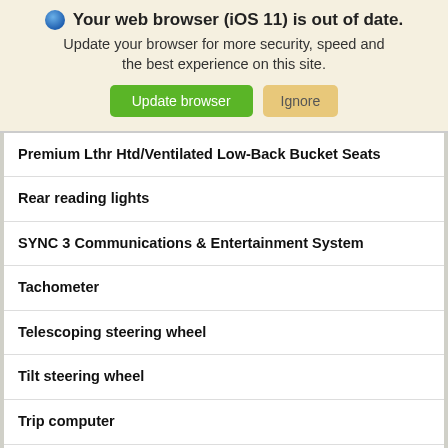[Figure (screenshot): Browser update warning banner with globe icon, bold title 'Your web browser (iOS 11) is out of date.', subtitle text, and two buttons: 'Update browser' (green) and 'Ignore' (tan/gold)]
Premium Lthr Htd/Ventilated Low-Back Bucket Seats
Rear reading lights
SYNC 3 Communications & Entertainment System
Tachometer
Telescoping steering wheel
Tilt steering wheel
Trip computer
3rd row seats: split-bench